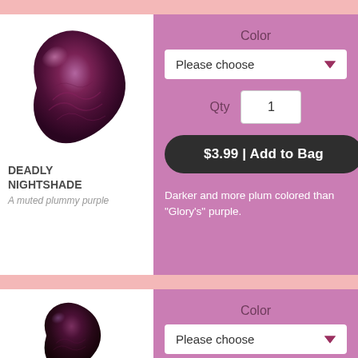[Figure (photo): Hair dye swatch showing muted plummy purple color for Deadly Nightshade]
DEADLY NIGHTSHADE
A muted plummy purple
Color
Please choose
Qty
$3.99 | Add to Bag
Darker and more plum colored than "Glory's" purple.
[Figure (photo): Hair dye swatch showing dark plum/purple color for second product]
Color
Please choose